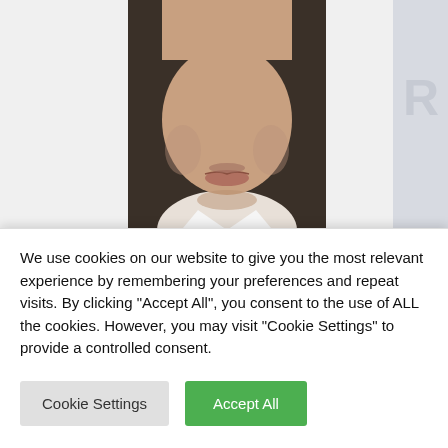[Figure (photo): Close-up portrait photo of a man in a white shirt, cropped from shoulders up, with a dark background. The lower portion of the face and neck are visible.]
Maverick Zayden
View Full Profile →
CATEGORIES
We use cookies on our website to give you the most relevant experience by remembering your preferences and repeat visits. By clicking "Accept All", you consent to the use of ALL the cookies. However, you may visit "Cookie Settings" to provide a controlled consent.